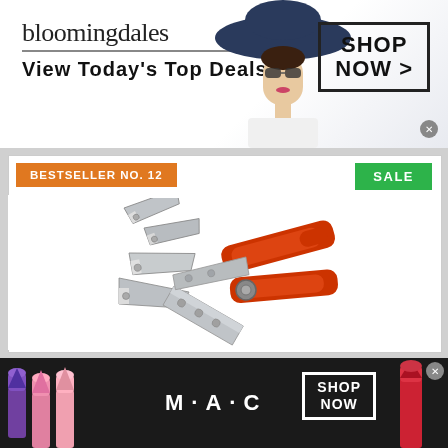[Figure (screenshot): Bloomingdales advertisement banner with logo, tagline 'View Today's Top Deals!', model in large blue hat, and 'SHOP NOW >' button]
BESTSELLER NO. 12
SALE
[Figure (photo): Product photo of a miter shear/angle cutter tool with red handles and multiple replacement blades]
[Figure (screenshot): M·A·C cosmetics advertisement banner with lipsticks on left and right, M·A·C logo in center, and 'SHOP NOW' button]